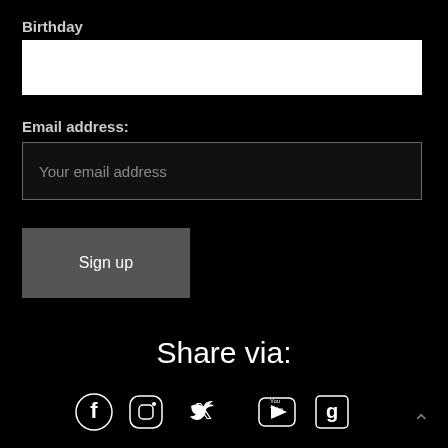Birthday
Email address:
Your email address
Sign up
Share via:
[Figure (infographic): Social media icons: Facebook, Instagram, Twitter, YouTube, Goodreads]
^